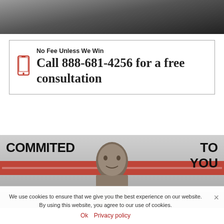[Figure (photo): Dark background photo at top of page, partially visible]
No Fee Unless We Win
Call 888-681-4256 for a free consultation
[Figure (photo): Photo of a man's face near a truck with text COMMITED TO YOU overlaid]
We use cookies to ensure that we give you the best experience on our website. By using this website, you agree to our use of cookies.
Ok  Privacy policy